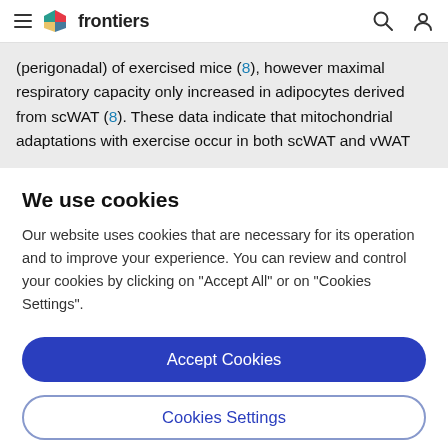frontiers
(perigonadal) of exercised mice (8), however maximal respiratory capacity only increased in adipocytes derived from scWAT (8). These data indicate that mitochondrial adaptations with exercise occur in both scWAT and vWAT
We use cookies
Our website uses cookies that are necessary for its operation and to improve your experience. You can review and control your cookies by clicking on "Accept All" or on "Cookies Settings".
Accept Cookies
Cookies Settings